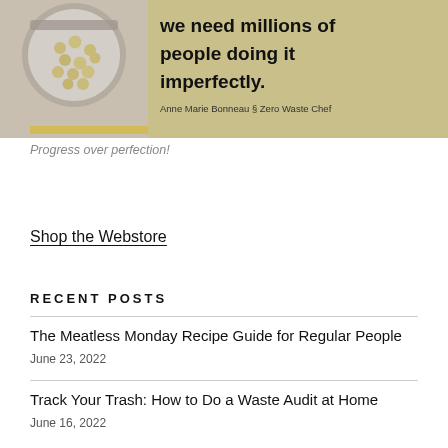[Figure (photo): Banner image showing a jar of chickpeas/legumes on the left with a khaki/olive background on the right containing bold text quote about millions of people doing things imperfectly, attributed to Anne Marie Bonneau & Zero Waste Chef]
Progress over perfection!
Shop the Webstore
RECENT POSTS
The Meatless Monday Recipe Guide for Regular People
June 23, 2022
Track Your Trash: How to Do a Waste Audit at Home
June 16, 2022